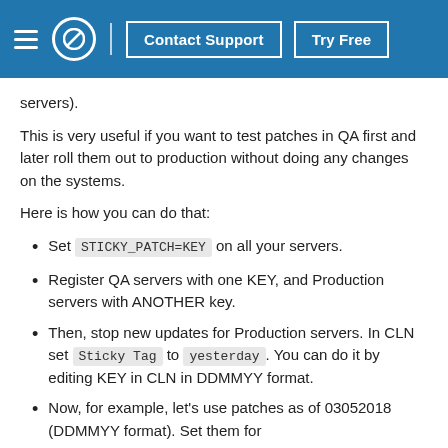Contact Support | Try Free
servers).
This is very useful if you want to test patches in QA first and later roll them out to production without doing any changes on the systems.
Here is how you can do that:
Set STICKY_PATCH=KEY on all your servers.
Register QA servers with one KEY, and Production servers with ANOTHER key.
Then, stop new updates for Production servers. In CLN set Sticky Tag to yesterday. You can do it by editing KEY in CLN in DDMMYY format.
Now, for example, let's use patches as of 03052018 (DDMMYY format). Set them for